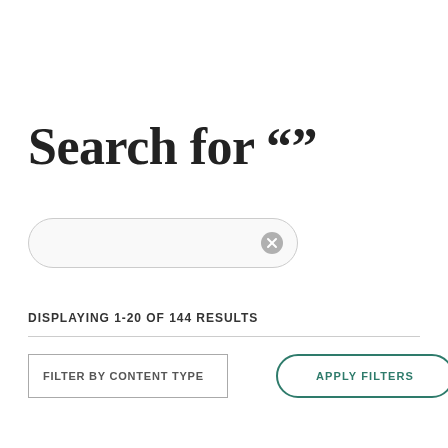Search for ""
[Figure (other): Search input box with a clear (x) button, rounded pill shape, light gray border]
DISPLAYING 1-20 OF 144 RESULTS
FILTER BY CONTENT TYPE
APPLY FILTERS